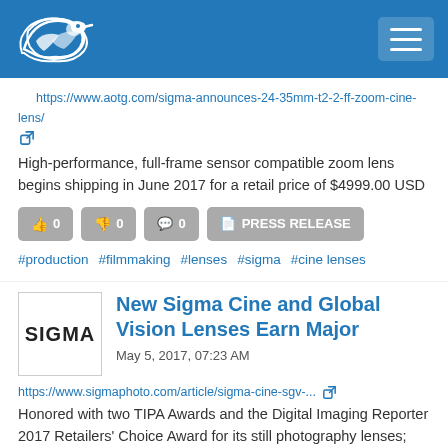AOTG logo and navigation
https://www.aotg.com/sigma-announces-24-35mm-t2-2-ff-zoom-cine-lens/
High-performance, full-frame sensor compatible zoom lens begins shipping in June 2017 for a retail price of $4999.00 USD
0  0  0  PRESS RELEASE
#production #filmmaking #lenses #sigma #cine lenses
New Sigma Cine and Global Vision Lenses Earn Major
May 5, 2017, 07:23 AM
https://www.sigmaphoto.com/article/sigma-cine-sgv-...
Honored with two TIPA Awards and the Digital Imaging Reporter 2017 Retailers' Choice Award for its still photography lenses; receives StudioDaily Prime, NewBay Best of Show and ProductionHub Excellence Awards for its